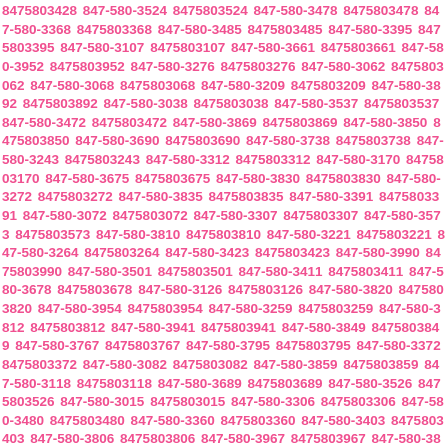8475803428 847-580-3524 8475803524 847-580-3478 8475803478 847-580-3368 8475803368 847-580-3485 8475803485 847-580-3395 8475803395 847-580-3107 8475803107 847-580-3661 8475803661 847-580-3952 8475803952 847-580-3276 8475803276 847-580-3062 8475803062 847-580-3068 8475803068 847-580-3209 8475803209 847-580-3892 8475803892 847-580-3038 8475803038 847-580-3537 8475803537 847-580-3472 8475803472 847-580-3869 8475803869 847-580-3850 8475803850 847-580-3690 8475803690 847-580-3738 8475803738 847-580-3243 8475803243 847-580-3312 8475803312 847-580-3170 8475803170 847-580-3675 8475803675 847-580-3830 8475803830 847-580-3272 8475803272 847-580-3835 8475803835 847-580-3391 8475803391 847-580-3072 8475803072 847-580-3307 8475803307 847-580-3573 8475803573 847-580-3810 8475803810 847-580-3221 8475803221 847-580-3264 8475803264 847-580-3423 8475803423 847-580-3990 8475803990 847-580-3501 8475803501 847-580-3411 8475803411 847-580-3678 8475803678 847-580-3126 8475803126 847-580-3820 8475803820 847-580-3954 8475803954 847-580-3259 8475803259 847-580-3812 8475803812 847-580-3941 8475803941 847-580-3849 8475803849 847-580-3767 8475803767 847-580-3795 8475803795 847-580-3372 8475803372 847-580-3082 8475803082 847-580-3859 8475803859 847-580-3118 8475803118 847-580-3689 8475803689 847-580-3526 8475803526 847-580-3015 8475803015 847-580-3306 8475803306 847-580-3480 8475803480 847-580-3360 8475803360 847-580-3403 8475803403 847-580-3806 8475803806 847-580-3967 8475803967 847-580-3843 8475803843